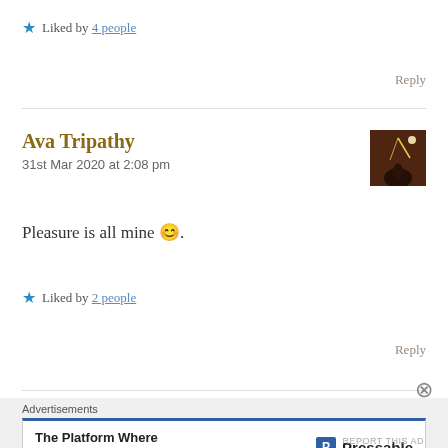★ Liked by 4 people
Reply
Ava Tripathy
31st Mar 2020 at 2:08 pm
[Figure (photo): Avatar thumbnail showing a silhouette against a bright background, dark reddish-brown tones]
Pleasure is all mine 😊.
★ Liked by 2 people
Reply
Advertisements
The Platform Where WordPress Works Best — Pressable